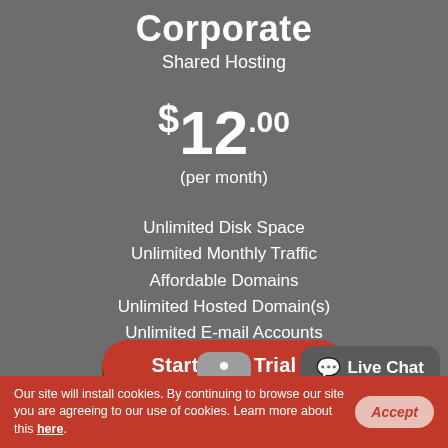Corporate
Shared Hosting
$12.00
(per month)
Unlimited Disk Space
Unlimited Monthly Traffic
Affordable Domains
Unlimited Hosted Domain(s)
Unlimited E-mail Accounts
30-day free trial
Full plan details
Start Free Trial
Live Chat
Our site will install cookies. By continuing to browse our site you are agreeing to our use of cookies. Learn more about this here.